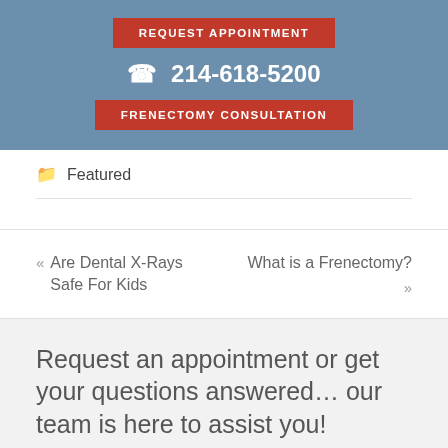REQUEST APPOINTMENT
☎ 214-618-5200
FRENECTOMY CONSULTATION
Featured
« Are Dental X-Rays Safe For Kids
What is a Frenectomy? »
Request an appointment or get your questions answered… our team is here to assist you!